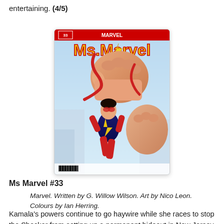entertaining. (4/5)
[Figure (illustration): Comic book cover of Ms. Marvel #33. Shows Ms. Marvel (Kamala Khan) in her red and blue costume flying upward with an enlarged fist. Marvel logo at top. Bright action-oriented artwork.]
Ms Marvel #33
Marvel. Written by G. Willow Wilson. Art by Nico Leon. Colours by Ian Herring.
Kamala's powers continue to go haywire while she races to stop the Shocker from setting up a permanent hideout in New Jersey. While she struggles to maintain shape and size, Bruno races to school to find a cure in its science lab. This issue is high on comedy, and Wilson's script absolutely nails the...